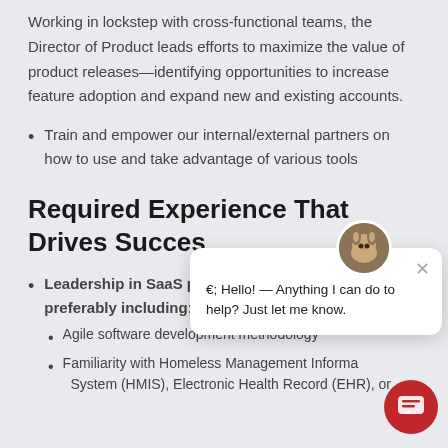Working in lockstep with cross-functional teams, the Director of Product leads efforts to maximize the value of product releases—identifying opportunities to increase feature adoption and expand new and existing accounts.
Train and empower our internal/external partners on how to use and take advantage of various tools
Required Experience That Drives Success
Leadership in SaaS p... preferably including:
Agile software development methodology
Familiarity with Homeless Management Information System (HMIS), Electronic Health Record (EHR), or
[Figure (screenshot): Chat widget overlay with dog avatar, close button, and message: Hello! — Anything I can do to help? Just let me know.]